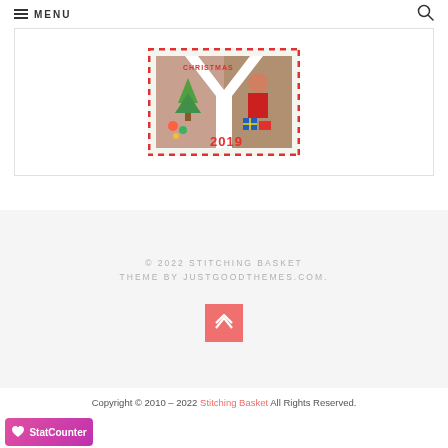MENU
[Figure (photo): Christmas ornament/craft photo with red and white border and '2019' text, decorative holiday image]
© 2022 STITCHING BASKET THEME BY JUSTGOODTHEMES.COM.
Copyright © 2010 - 2022 Stitching Basket All Rights Reserved.
[Figure (logo): StatCounter pink/purple badge with heart icon]